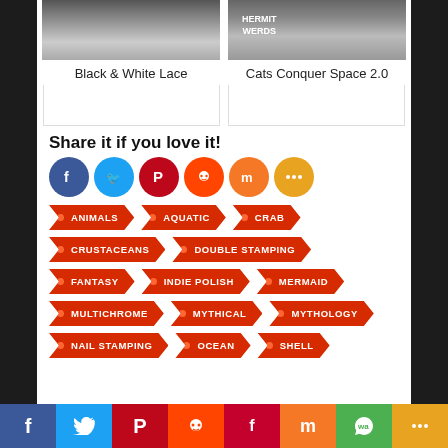[Figure (photo): Two nail art photos side by side: Black & White Lace and Cats Conquer Space 2.0]
Black & White Lace
Cats Conquer Space 2.0
Share it if you love it!
[Figure (infographic): Social sharing icons: Facebook, Twitter, Pinterest, Reddit, Mix, More]
ANIMALS
AQUATIC
CRAB
CRUSTACEANS
DOUBLE STAMPING
FANTASY
INDIE POLISH
MERMAID
MULTICHROME
MYTHICAL
MYTHOLOGY
NAIL STAMPING
OCEAN
SHELL
Facebook Twitter Pinterest Reddit Flipboard Mix WhatsApp More